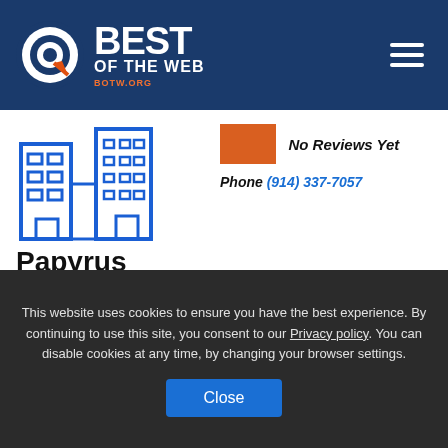[Figure (logo): Best of the Web (BOTW.org) logo with circular target icon and orange arrow on dark blue header background]
[Figure (illustration): Blue outline building/office icon]
No Reviews Yet
Phone (914) 337-7057
Papyrus
72 Pondfield Rd
Bronxville, NY 10708
Welcome to your neighborhood PAPYRUS greeting card and stationery store! PAPYRUS is a celebration of
This website uses cookies to ensure you have the best experience. By continuing to use this site, you consent to our Privacy policy. You can disable cookies at any time, by changing your browser settings.